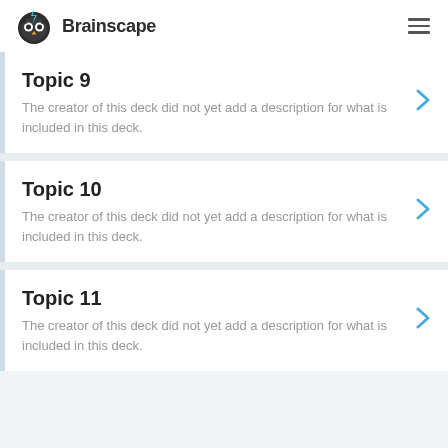[Figure (logo): Brainscape logo with owl icon and blue lightning bolt]
Topic 9
The creator of this deck did not yet add a description for what is included in this deck.
Topic 10
The creator of this deck did not yet add a description for what is included in this deck.
Topic 11
The creator of this deck did not yet add a description for what is included in this deck.